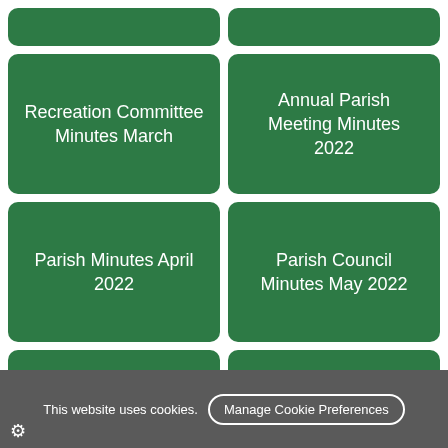[Figure (screenshot): Top row partial green cards (cropped at top)]
Recreation Committee Minutes March
Annual Parish Meeting Minutes 2022
Parish Minutes April 2022
Parish Council Minutes May 2022
Recreation Committee Minutes May
Recreation Committee Minutes June
This website uses cookies.
Manage Cookie Preferences